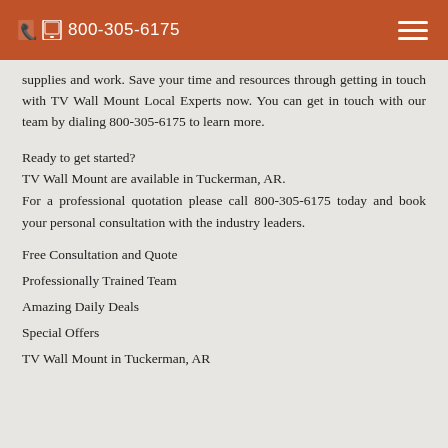📞 800-305-6175
supplies and work. Save your time and resources through getting in touch with TV Wall Mount Local Experts now. You can get in touch with our team by dialing 800-305-6175 to learn more.
Ready to get started?
TV Wall Mount are available in Tuckerman, AR.
For a professional quotation please call 800-305-6175 today and book your personal consultation with the industry leaders.
Free Consultation and Quote
Professionally Trained Team
Amazing Daily Deals
Special Offers
TV Wall Mount in Tuckerman, AR